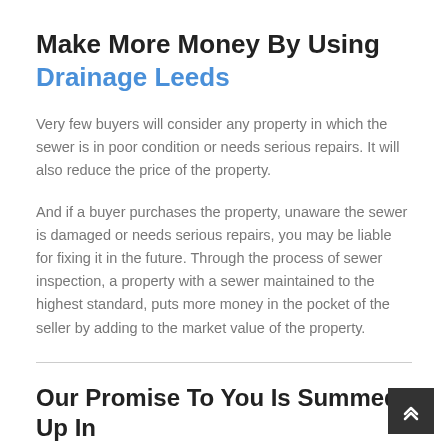Make More Money By Using Drainage Leeds
Very few buyers will consider any property in which the sewer is in poor condition or needs serious repairs. It will also reduce the price of the property.
And if a buyer purchases the property, unaware the sewer is damaged or needs serious repairs, you may be liable for fixing it in the future. Through the process of sewer inspection, a property with a sewer maintained to the highest standard, puts more money in the pocket of the seller by adding to the market value of the property.
Our Promise To You Is Summed Up In